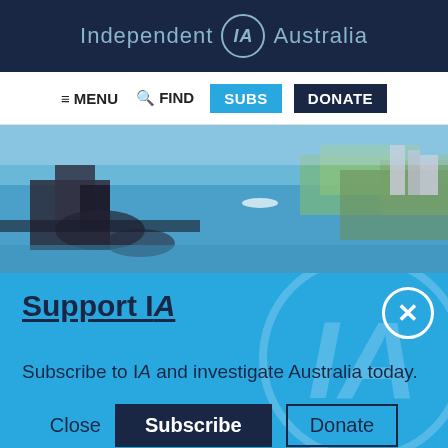Independent IA Australia
[Figure (screenshot): Navigation bar with MENU, FIND, SUBS, and DONATE buttons]
[Figure (photo): Aerial photograph of a coastal city with buildings, water, and waterfront]
Support IA
Subscribe to IA and investigate Australia today.
Close    Subscribe    Donate
Twitter, Facebook, LinkedIn, Flipboard, Link, Plus icons